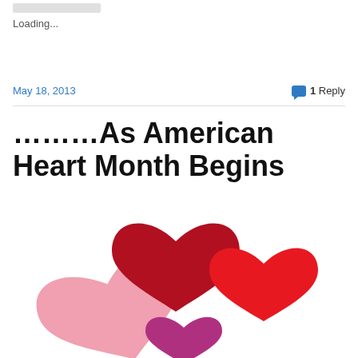Loading...
May 18, 2013
1 Reply
………As American Heart Month Begins
[Figure (illustration): Cluster of heart shapes in red, dark red, pink, and purple/magenta colors arranged in an overlapping group]